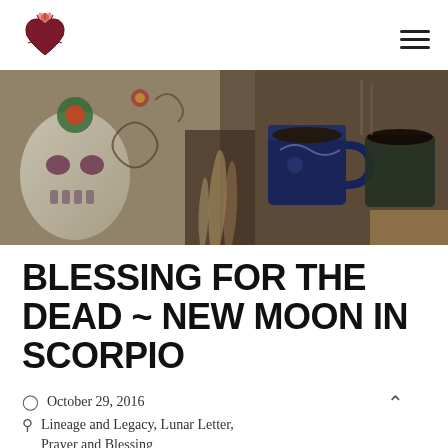Logo and navigation menu
[Figure (photo): Overhead photo of a colorful Day of the Dead sugar skull decorated textile/pillow with ornate floral patterns alongside dark blue ceramic mugs/cups on a wooden surface, with feathers visible in the center.]
BLESSING FOR THE DEAD ~ NEW MOON IN SCORPIO
October 29, 2016
Lineage and Legacy, Lunar Letter, Prayer and Blessing
Briana Causey  Comments Off